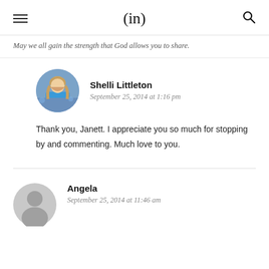(in)
May we all gain the strength that God allows you to share.
Shelli Littleton
September 25, 2014 at 1:16 pm
Thank you, Janett. I appreciate you so much for stopping by and commenting. Much love to you.
Angela
September 25, 2014 at 11:46 am